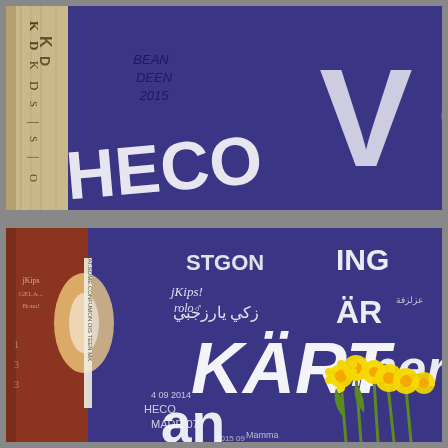[Figure (photo): Top photo showing a purple/blue wall with white chalk-style graffiti text including 'HECO', 'BEAN DEEN 2015', and partial letters. On the left side is a wooden board with carved/scratched letters. The background wall is dark blue/purple.]
[Figure (photo): Bottom photo showing a purple/blue wall covered in multilingual white chalk graffiti text including 'KART', 'mer', 'AR', Arabic script, 'jKips! rolo', 'HECO', 'MADR 07', and other writings. Yellow daffodil flowers are visible in the foreground right. On the left is a red/orange wooden door frame area with additional chalk writings.]